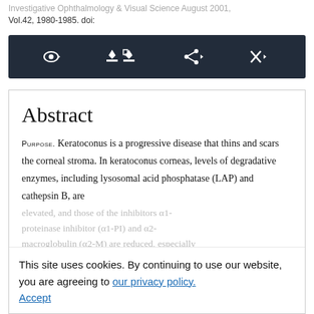Investigative Ophthalmology & Visual Science August 2001, Vol.42, 1980-1985. doi:
[Figure (screenshot): Dark toolbar with icons: eye/view dropdown, download and PDF download buttons, share dropdown, tools dropdown]
Abstract
PURPOSE. Keratoconus is a progressive disease that thins and scars the corneal stroma. In keratoconus corneas, levels of degradative enzymes, including lysosomal acid phosphatase (LAP) and cathepsin B, are elevated, and those of the inhibitors α1-proteinase inhibitor (α1-PI) and α2-macroglobulin (α2-M) are reduced, especially in the epithelial layer. An increased
This site uses cookies. By continuing to use our website, you are agreeing to our privacy policy. Accept